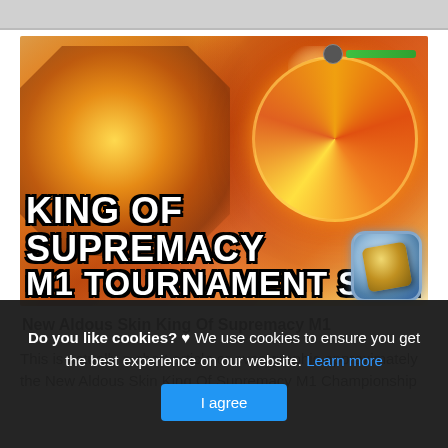[Figure (screenshot): Game promotional image showing 'KING OF SUPREMACY M1 TOURNAMENT SKIN' with a golden warrior character on the left and a spinning fiery disk on the right, with a gold badge icon in the bottom right corner]
New Aldous Skin King Of Supremacy M1
This is actually a short article or even graphic approximately the New Aldous Skin King Of Supremacy M1 Championship
Do you like cookies? ♥ We use cookies to ensure you get the best experience on our website. Learn more
I agree